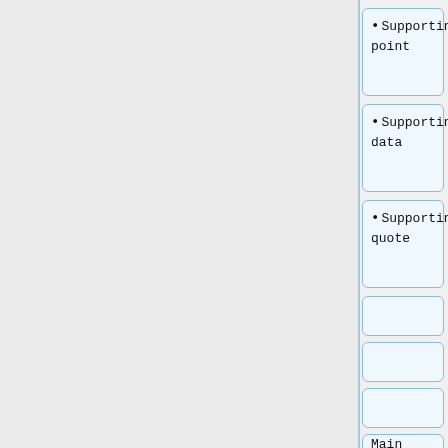Supporting point
Supporting data
Supporting quote
Main point
Supporting point